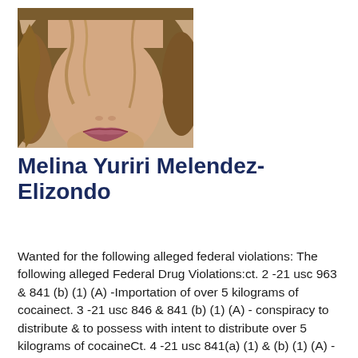[Figure (photo): Headshot photo of Melina Yuriri Melendez-Elizondo, a young woman with long wavy brunette hair, photographed from chin/mouth up.]
Melina Yuriri Melendez-Elizondo
Wanted for the following alleged federal violations: The following alleged Federal Drug Violations:ct. 2 -21 usc 963 & 841 (b) (1) (A) - Importation of over 5 kilograms of cocainect. 3 -21 usc 846 & 841 (b) (1) (A) - conspiracy to distribute & to possess with intent to distribute over 5 kilograms of cocaineCt. 4 -21 usc 841(a) (1) & (b) (1) (A) - Possession with intent to distribute over 5 kilograms of cocaineCt. 10 -18 USC 1956(h) to 18 USC 1956 (a)(2)(A) & (a)(2)(B)(i) money laundering.